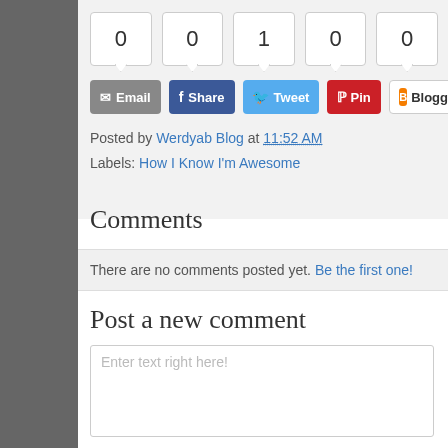[Figure (screenshot): Social share counter boxes showing counts: 0, 0, 1, 0, 0]
[Figure (screenshot): Social share buttons: Email, Share (Facebook), Tweet (Twitter), Pin (Pinterest), Blogger, G+]
Posted by Werdyab Blog at 11:52 AM
Labels: How I Know I'm Awesome
Comments
There are no comments posted yet. Be the first one!
Post a new comment
Enter text right here!